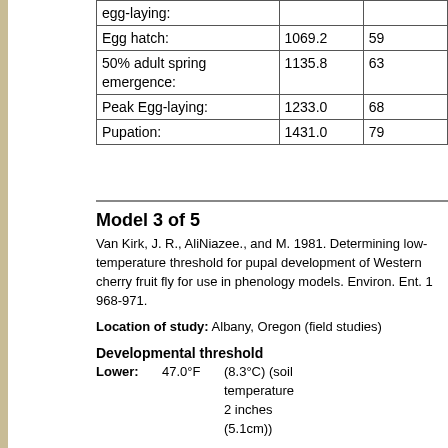|  |  |  |
| --- | --- | --- |
| egg-laying: |  |  |
| Egg hatch: | 1069.2 | 59 |
| 50% adult spring emergence: | 1135.8 | 63 |
| Peak Egg-laying: | 1233.0 | 68 |
| Pupation: | 1431.0 | 79 |
Model 3 of 5
Van Kirk, J. R., AliNiazee., and M. 1981. Determining low-temperature threshold for pupal development of Western cherry fruit fly for use in phenology models. Environ. Ent. 1 968-971.
Location of study: Albany, Oregon (field studies)
Developmental threshold
Lower:    47.0°F    (8.3°C) (soil temperature 2 inches (5.1cm))
Method of calculation: Max-min method (UC IPM recommends Sin